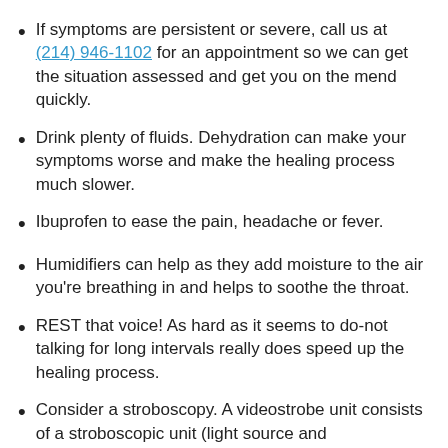If symptoms are persistent or severe, call us at (214) 946-1102 for an appointment so we can get the situation assessed and get you on the mend quickly.
Drink plenty of fluids. Dehydration can make your symptoms worse and make the healing process much slower.
Ibuprofen to ease the pain, headache or fever.
Humidifiers can help as they add moisture to the air you're breathing in and helps to soothe the throat.
REST that voice! As hard as it seems to do-not talking for long intervals really does speed up the healing process.
Consider a stroboscopy. A videostrobe unit consists of a stroboscopic unit (light source and microphone), a video camera, an endoscope, and a video recorder.